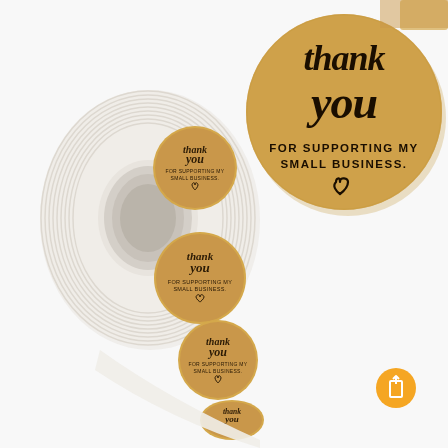[Figure (photo): A roll of kraft paper 'thank you for supporting my small business' stickers on the left, and a large close-up of a single circular sticker on the upper right showing 'thank you FOR SUPPORTING MY SMALL BUSINESS.' with a heart icon, on a gold/kraft textured background. An orange circular button icon is in the lower right corner.]